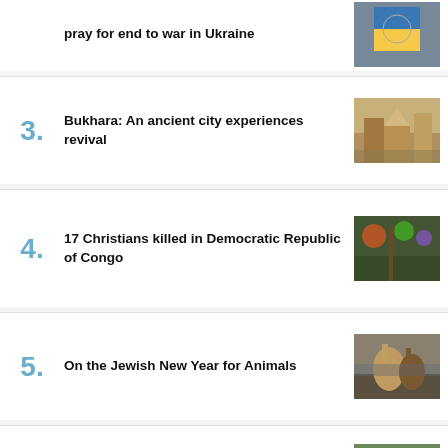pray for end to war in Ukraine
3. Bukhara: An ancient city experiences revival
4. 17 Christians killed in Democratic Republic of Congo
5. On the Jewish New Year for Animals
6. Pakistani Christian couple who escaped death row find refuge in Europe